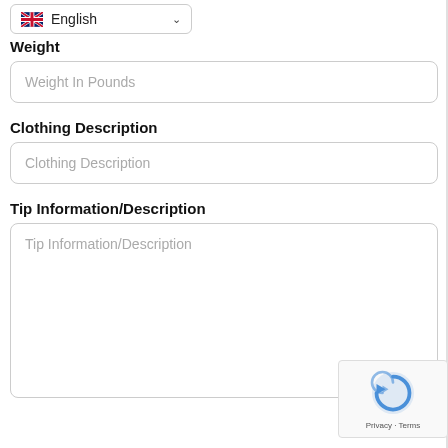[Figure (screenshot): English language selector dropdown with UK flag icon and chevron]
Weight
Weight In Pounds
Clothing Description
Clothing Description
Tip Information/Description
Tip Information/Description
[Figure (logo): Google reCAPTCHA badge with Privacy and Terms links]